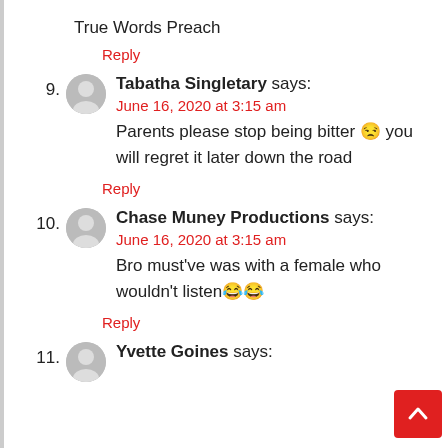True Words Preach
Reply
9. Tabatha Singletary says: June 16, 2020 at 3:15 am — Parents please stop being bitter 😑 you will regret it later down the road
Reply
10. Chase Muney Productions says: June 16, 2020 at 3:15 am — Bro must've was with a female who wouldn't listen😂😂
Reply
11. Yvette Goines says: